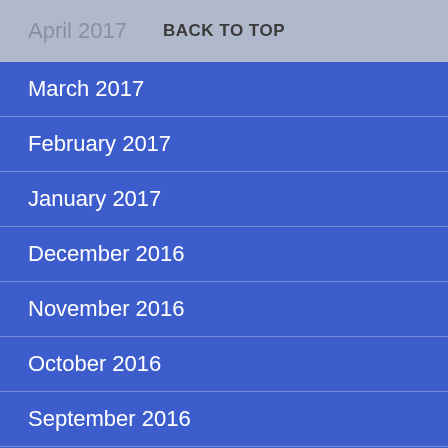April 2017   BACK TO TOP
March 2017
February 2017
January 2017
December 2016
November 2016
October 2016
September 2016
August 2016
July 2016